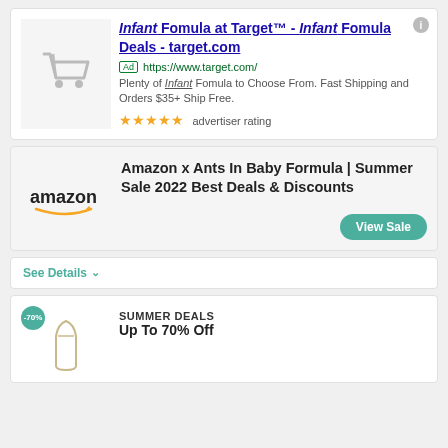[Figure (screenshot): Ad card for Target: shopping cart icon, ad title 'Infant Formula at Target™ - Infant Fomula Deals - target.com', Ad badge, URL, description, and 5-star advertiser rating]
[Figure (screenshot): Ad card for Amazon: Amazon logo, title 'Amazon x Ants In Baby Formula | Summer Sale 2022 Best Deals & Discounts', View Sale button]
See Details ∨
[Figure (screenshot): Partial ad card with -70% badge, product image, SUMMER DEALS label, Up To 70% Off text]